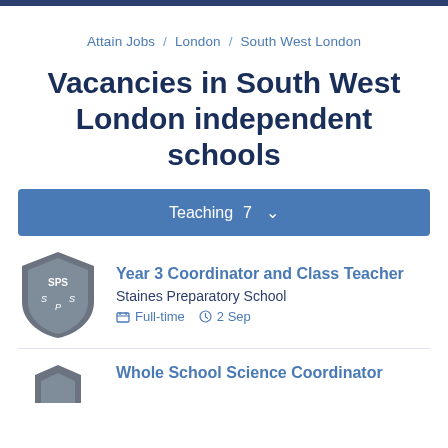Attain Jobs / London / South West London
Vacancies in South West London independent schools
Teaching 7
Year 3 Coordinator and Class Teacher
Staines Preparatory School
Full-time  2 Sep
Whole School Science Coordinator